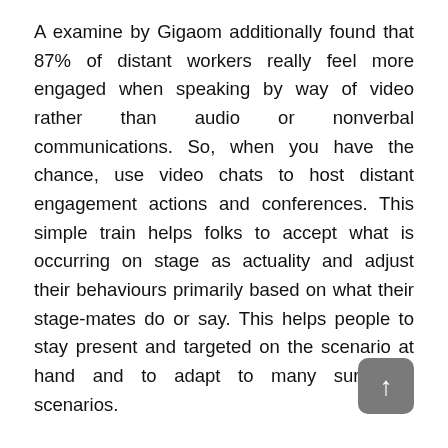A examine by Gigaom additionally found that 87% of distant workers really feel more engaged when speaking by way of video rather than audio or nonverbal communications. So, when you have the chance, use video chats to host distant engagement actions and conferences. This simple train helps folks to accept what is occurring on stage as actuality and adjust their behaviours primarily based on what their stage-mates do or say. This helps people to stay present and targeted on the scenario at hand and to adapt to many surprising scenarios.
Project Staff Name
Everybody on stage should work collectively the sense of one thing in-actual-time and trust their instincts in the presence of a Finally, since everyone's done